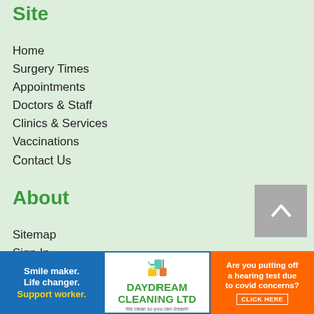Site
Home
Surgery Times
Appointments
Doctors & Staff
Clinics & Services
Vaccinations
Contact Us
About
Sitemap
Sign In
Disclaimer
Website Privacy
Website Accessibility
[Figure (infographic): Blue advertisement: Smile maker. Life changer. Support worker.]
[Figure (logo): Daydream Cleaning Ltd logo with cleaning supplies graphic]
[Figure (infographic): Orange advertisement: Are you putting off a hearing test due to covid concerns? CLICK HERE]